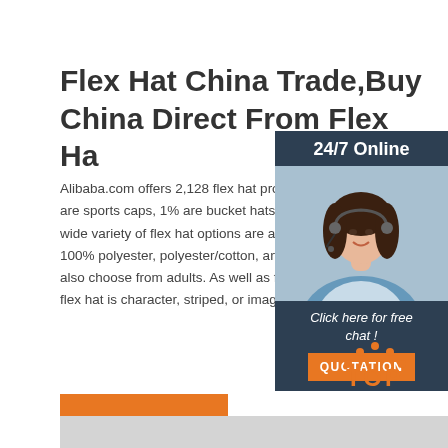Flex Hat China Trade,Buy China Direct From Flex Ha...
Alibaba.com offers 2,128 flex hat products. About 70% are sports caps, 1% are bucket hats, and 1% are wi... wide variety of flex hat options are available to you. 100% polyester, polyester/cotton, and 100% cotton. also choose from adults. As well as from unisex. And flex hat is character, striped, or image.
[Figure (photo): Customer service representative, woman with headset smiling, with 24/7 Online label and Click here for free chat / QUOTATION button overlay on dark blue background]
[Figure (logo): TOP logo with orange dots arranged in arc above bold orange TOP text]